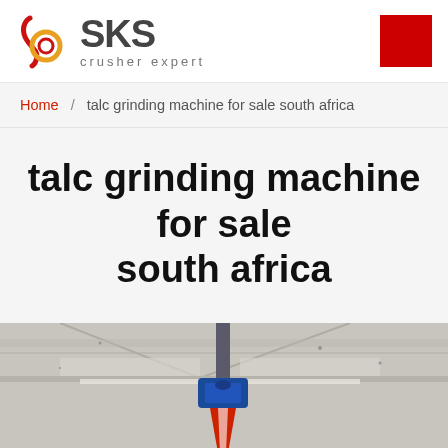[Figure (logo): SKS crusher expert logo with red/gold circular emblem and red square button in top right]
Home / talc grinding machine for sale south africa
talc grinding machine for sale south africa
[Figure (photo): Industrial factory interior showing overhead machinery equipment, blue and red colored mechanical part hanging from ceiling in a large industrial hall]